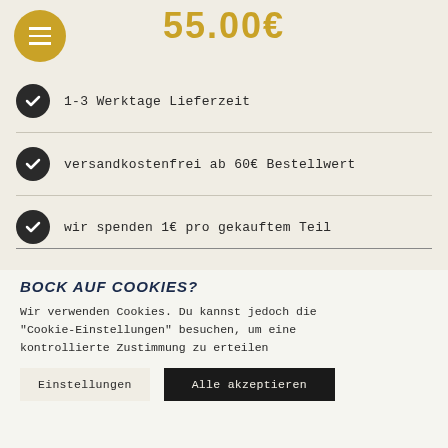55.00€
[Figure (other): Gold circular hamburger menu button with three white lines]
1-3 Werktage Lieferzeit
versandkostenfrei ab 60€ Bestellwert
wir spenden 1€ pro gekauftem Teil
BOCK AUF COOKIES?
Wir verwenden Cookies. Du kannst jedoch die "Cookie-Einstellungen" besuchen, um eine kontrollierte Zustimmung zu erteilen
Einstellungen    Alle akzeptieren